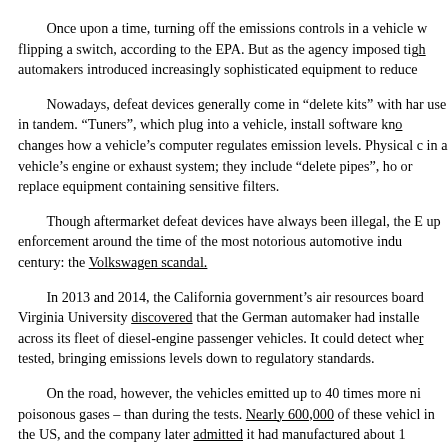Once upon a time, turning off the emissions controls in a vehicle was as simple as flipping a switch, according to the EPA. But as the agency imposed tighter standards, automakers introduced increasingly sophisticated equipment to reduce
Nowadays, defeat devices generally come in "delete kits" with hardware and software to use in tandem. "Tuners", which plug into a vehicle, install software known as a "tune" that changes how a vehicle's computer regulates emission levels. Physical components fit in a vehicle's engine or exhaust system; they include "delete pipes", ho or replace equipment containing sensitive filters.
Though aftermarket defeat devices have always been illegal, the E up enforcement around the time of the most notorious automotive indu century: the Volkswagen scandal.
In 2013 and 2014, the California government's air resources board Virginia University discovered that the German automaker had installe across its fleet of diesel-engine passenger vehicles. It could detect whe tested, bringing emissions levels down to regulatory standards.
On the road, however, the vehicles emitted up to 40 times more ni poisonous gases – than during the tests. Nearly 600,000 of these vehicl in the US, and the company later admitted it had manufactured about 1
The result was a legal settlement that has cost Volkswagen more th alone, including criminal and civil penalties and investments in emissi